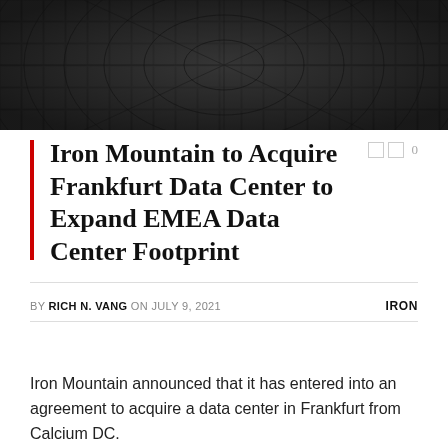[Figure (photo): Dark photograph showing a circular/dome-like grid pattern of dark squares, resembling a data center ceiling or architectural feature shot from below]
Iron Mountain to Acquire Frankfurt Data Center to Expand EMEA Data Center Footprint
BY RICH N. VANG ON JULY 9, 2021   IRON
Iron Mountain announced that it has entered into an agreement to acquire a data center in Frankfurt from Calcium DC.
The Data Center is a 20,000 square meter, two-story colocation data center site located on freehold land in the Am Martinszehnten Industrial Park, close to the city center and